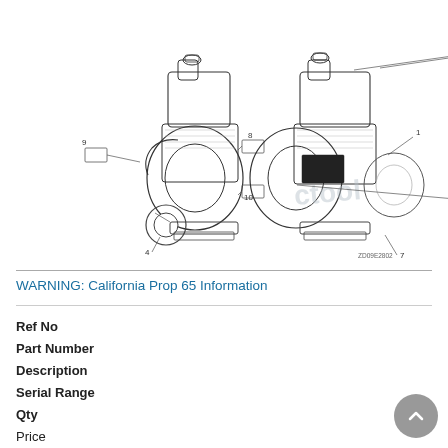[Figure (engineering-diagram): Two engineering diagrams of a water pump/engine assembly showing labeled parts. Left diagram shows rear/side view with part numbers 4, 8, 9, 10. Right diagram shows front/side view with part numbers 1, 2, 3, 5, 6, 7, 11, 12. Part labels are indicated with leader lines. Diagram reference code ZD09E2802 shown at bottom right.]
WARNING: California Prop 65 Information
| Ref No | Part Number | Description | Serial Range | Qty | Price |
| --- | --- | --- | --- | --- | --- |